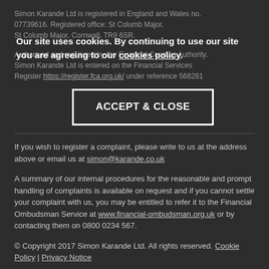Simon Karande Ltd is registered in England and Wales no. 07739616. Registered office: St Columb Major, Cornwall, TR9 6SR.
Our site uses cookies. By continuing to use our site you are agreeing to our cookies policy.
ACCEPT & CLOSE
Authorised and regulated by the Financial Conduct Authority. Simon Karande Ltd is entered on the Financial Services Register https://register.fca.org.uk/ under reference 568281
If you wish to register a complaint, please write to us at the address above or email us at simon@karande.co.uk
A summary of our internal procedures for the reasonable and prompt handling of complaints is available on request and if you cannot settle your complaint with us, you may be entitled to refer it to the Financial Ombudsman Service at www.financial-ombudsman.org.uk or by contacting them on 0800 0234 567.
© Copyright 2017 Simon Karande Ltd. All rights reserved. Cookie Policy | Privacy Notice